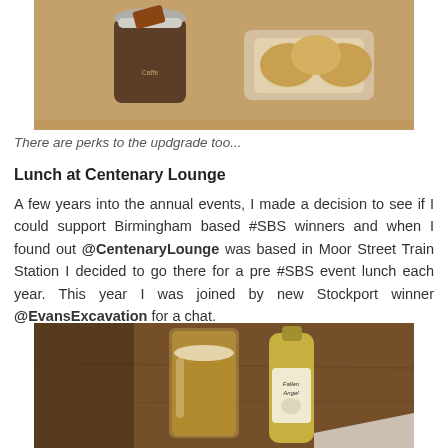[Figure (photo): Photo of a coffee cup with a chocolate on top and a packet of biscuits/scones on a table]
There are perks to the updgrade too...
Lunch at Centenary Lounge
A few years into the annual events, I made a decision to see if I could support Birmingham based #SBS winners and when I found out @CentenaryLounge was based in Moor Street Train Station I decided to go there for a pre #SBS event lunch each year. This year I was joined by new Stockport winner @EvansExcavation for a chat.
[Figure (photo): Photo of a pint glass of beer and a bottle of beer (Fallen Angel) on a wooden table]